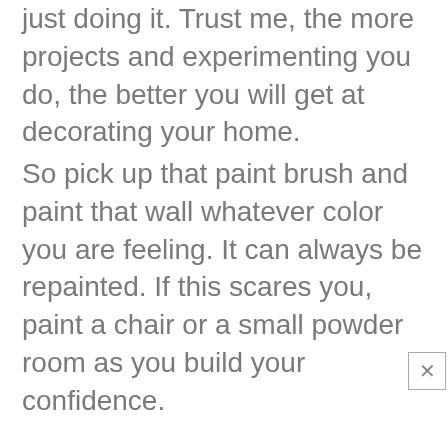just doing it. Trust me, the more projects and experimenting you do, the better you will get at decorating your home.
So pick up that paint brush and paint that wall whatever color you are feeling. It can always be repainted. If this scares you, paint a chair or a small powder room as you build your confidence.